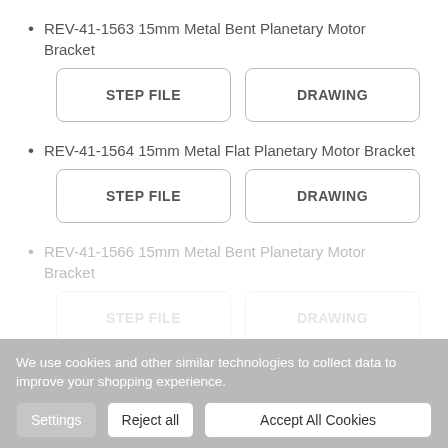REV-41-1563 15mm Metal Bent Planetary Motor Bracket
REV-41-1564 15mm Metal Flat Planetary Motor Bracket
REV-41-1566 15mm Metal Bent Planetary Motor Bracket (partial, obscured)
We use cookies and other similar technologies to collect data to improve your shopping experience.